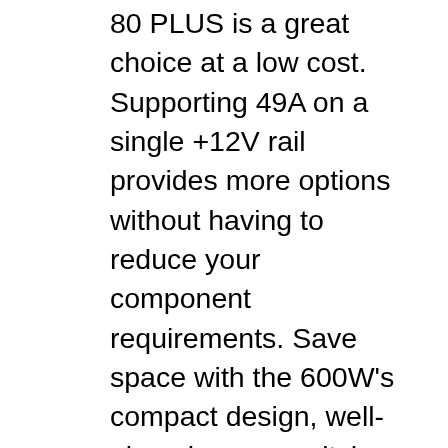80 PLUS is a great choice at a low cost. Supporting 49A on a single +12V rail provides more options without having to reduce your component requirements. Save space with the 600W's compact design, well-placed power switch and fully sleeved cables. The 600W offers the connections and 20/09/2016B B· When building on a budget, the EVGA 500W 80 PLUS is a great choice at a low cost. Supporting 40A on a single +12V rail provides more options without having to reduce your component requirements. Save space with the 500W's compact design, well-placed power switch and fully sleeved cables. The 500W offers the connections and protections needed